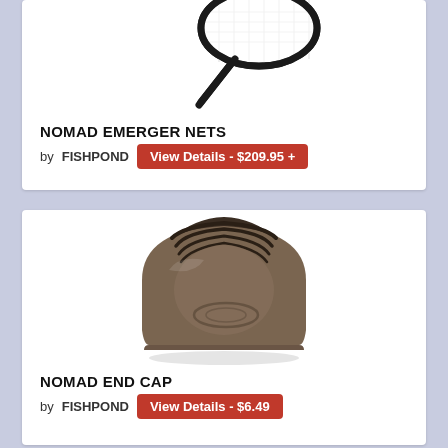[Figure (photo): Fishing net / Nomad Emerger Net with dark handle and white mesh, partially cropped at top]
NOMAD EMERGER NETS
by FISHPOND  View Details - $209.95 +
[Figure (photo): Nomad End Cap - brown/dark plastic cap accessory for fishing net rod]
NOMAD END CAP
by FISHPOND  View Details - $6.49